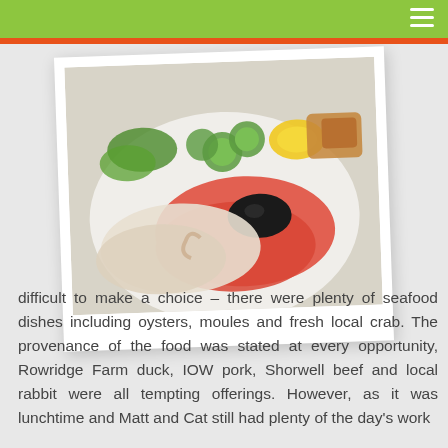[Figure (photo): Polaroid-style photo of a seafood dish: smoked salmon with black caviar, white fish, cucumber slices, lemon wedge, and garnish on a white plate]
difficult to make a choice – there were plenty of seafood dishes including oysters, moules and fresh local crab. The provenance of the food was stated at every opportunity, Rowridge Farm duck, IOW pork, Shorwell beef and local rabbit were all tempting offerings. However, as it was lunchtime and Matt and Cat still had plenty of the day's work